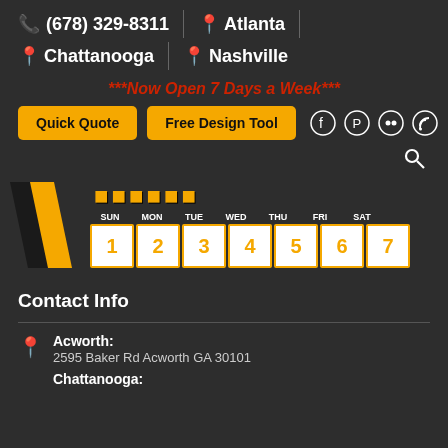📞 (678) 329-8311 | 📍 Atlanta |
📍 Chattanooga | 📍 Nashville
***Now Open 7 Days a Week***
Quick Quote | Free Design Tool
[Figure (logo): Company logo with yellow diagonal slash and weekly calendar showing SUN MON TUE WED THU FRI SAT with numbers 1-7 in yellow on white tiles.]
Contact Info
Acworth: 2595 Baker Rd Acworth GA 30101
Chattanooga: